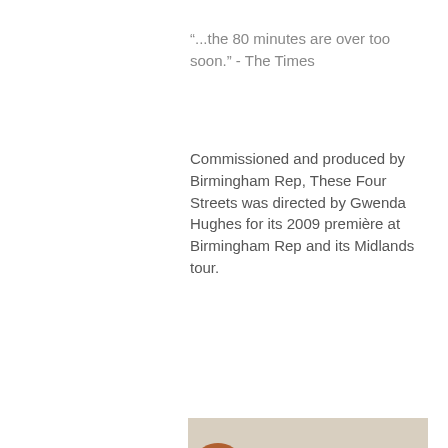“...the 80 minutes are over too soon.” - The Times
Commissioned and produced by Birmingham Rep, These Four Streets was directed by Gwenda Hughes for its 2009 première at Birmingham Rep and its Midlands tour.
[Figure (photo): Portrait photo of a young woman with curly dark hair styled up with a decorative clip, wearing a black turtleneck. Another person with red/orange hair is partially visible on the left side.]